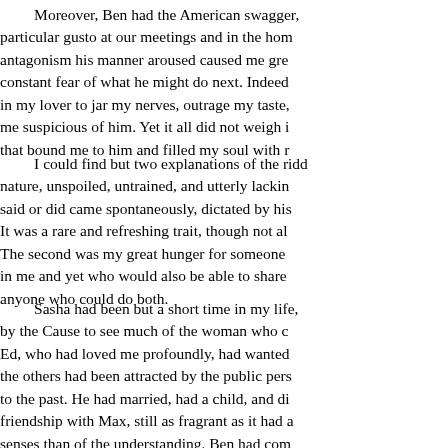Moreover, Ben had the American swagger, particular gusto at our meetings and in the hon antagonism his manner aroused caused me gre constant fear of what he might do next. Indeed in my lover to jar my nerves, outrage my taste, me suspicious of him. Yet it all did not weigh i that bound me to him and filled my soul with r
I could find but two explanations of the ridd nature, unspoiled, untrained, and utterly lackin said or did came spontaneously, dictated by his It was a rare and refreshing trait, though not al The second was my great hunger for someone in me and yet who would also be able to share anyone who could do both.
Sasha had been but a short time in my life, by the Cause to see much of the woman who c Ed, who had loved me profoundly, had wanted the others had been attracted by the public pers to the past. He had married, had a child, and di friendship with Max, still as fragrant as it had a senses than of the understanding. Ben had com him; our four months together had proved that emotions I had yearned for so long.